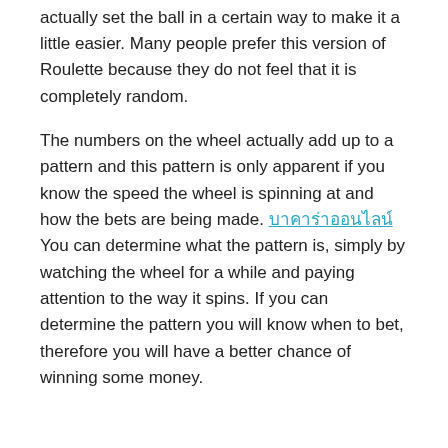not completely random. However, [link] the ball does have a pattern and the dealer can actually set the ball in a certain way to make it a little easier. Many people prefer this version of Roulette because they do not feel that it is completely random.
The numbers on the wheel actually add up to a pattern and this pattern is only apparent if you know the speed the wheel is spinning at and how the bets are being made. [link] You can determine what the pattern is, simply by watching the wheel for a while and paying attention to the way it spins. If you can determine the pattern you will know when to bet, therefore you will have a better chance of winning some money.